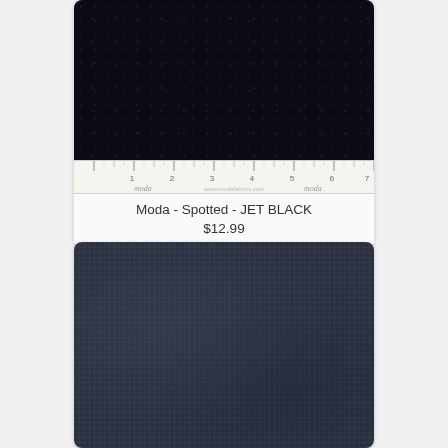[Figure (photo): Dark jet black spotted fabric swatch with a Moda ruler strip showing measurements from 1 to 7 inches]
Moda - Spotted - JET BLACK
$12.99
[Figure (photo): Dark navy/dark blue solid linen-textured fabric swatch]